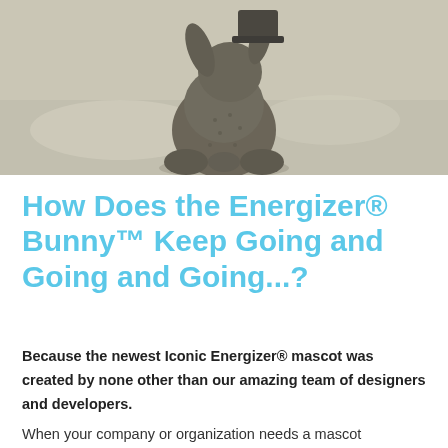[Figure (photo): Photo of a small stuffed animal bunny figurine viewed from behind, sitting on a light gray surface. The bunny appears to be made of a dark grayish-brown fuzzy material.]
How Does the Energizer® Bunny™ Keep Going and Going and Going...?
Because the newest Iconic Energizer® mascot was created by none other than our amazing team of designers and developers.
When your company or organization needs a mascot